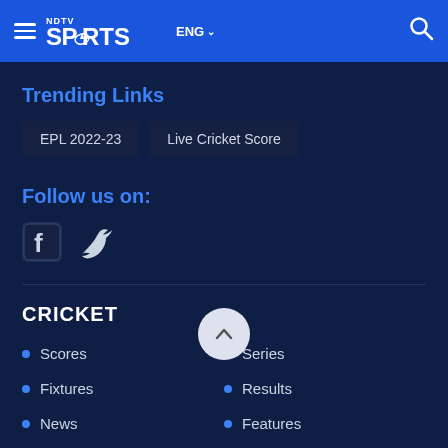NDTV Sports ENG
Trending Links
EPL 2022-23
Live Cricket Score
Follow us on:
[Figure (illustration): Facebook and Twitter social media icons]
CRICKET
Scores
Series
Fixtures
Results
News
Features